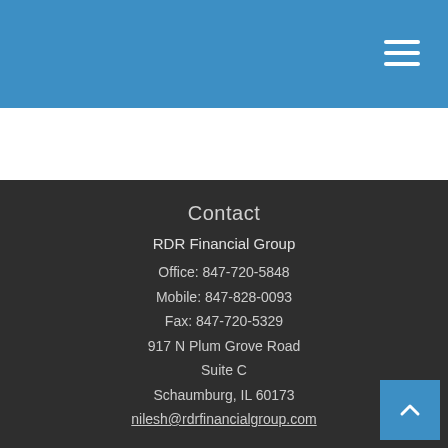RDR Financial Group
Contact
RDR Financial Group
Office: 847-720-5848
Mobile: 847-828-0093
Fax: 847-720-5329
917 N Plum Grove Road
Suite C
Schaumburg, IL 60173
nilesh@rdrfinancialgroup.com
Quick Links
Retirement
Investment